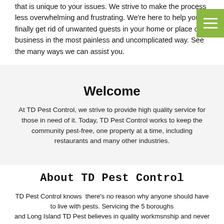that is unique to your issues. We strive to make the process less overwhelming and frustrating. We're here to help you to finally get rid of unwanted guests in your home or place of business in the most painless and uncomplicated way. See the many ways we can assist you.
Welcome
At TD Pest Control, we strive to provide high quality service for those in need of it. Today, TD Pest Control works to keep the community pest-free, one property at a time, including restaurants and many other industries.
About TD Pest Control
TD Pest Control knows there's no reason why anyone should have to live with pests. Servicing the 5 boroughs and Long Island TD Pest believes in quality workmsnship and never cuts